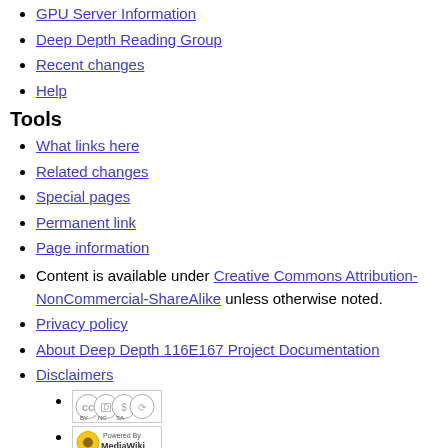GPU Server Information
Deep Depth Reading Group
Recent changes
Help
Tools
What links here
Related changes
Special pages
Permanent link
Page information
Content is available under Creative Commons Attribution-NonCommercial-ShareAlike unless otherwise noted.
Privacy policy
About Deep Depth 116E167 Project Documentation
Disclaimers
[Figure (logo): Creative Commons Attribution-NonCommercial-ShareAlike badge]
[Figure (logo): Powered by MediaWiki badge]